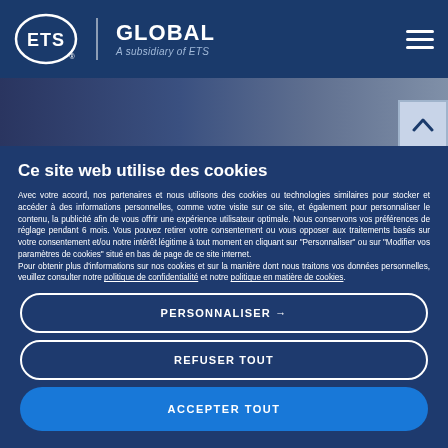ETS GLOBAL A subsidiary of ETS
[Figure (photo): Partial photo of a laptop or keyboard in dark blue tones, used as a decorative banner image]
Ce site web utilise des cookies
Avec votre accord, nos partenaires et nous utilisons des cookies ou technologies similaires pour stocker et accéder à des informations personnelles, comme votre visite sur ce site, et également pour personnaliser le contenu, la publicité afin de vous offrir une expérience utilisateur optimale. Nous conservons vos préférences de réglage pendant 6 mois. Vous pouvez retirer votre consentement ou vous opposer aux traitements basés sur votre consentement et/ou notre intérêt légitime à tout moment en cliquant sur "Personnaliser" ou sur "Modifier vos paramètres de cookies" situé en bas de page de ce site internet.
Pour obtenir plus d'informations sur nos cookies et sur la manière dont nous traitons vos données personnelles, veuillez consulter notre politique de confidentialité et notre politique en matière de cookies.
PERSONNALISER →
REFUSER TOUT
ACCEPTER TOUT